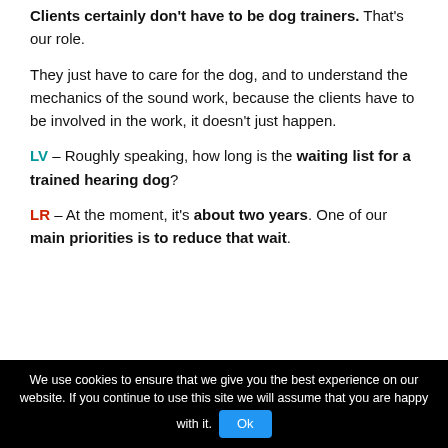Clients certainly don't have to be dog trainers. That's our role.
They just have to care for the dog, and to understand the mechanics of the sound work, because the clients have to be involved in the work, it doesn't just happen.
LV – Roughly speaking, how long is the waiting list for a trained hearing dog?
LR – At the moment, it's about two years. One of our main priorities is to reduce that wait.
We use cookies to ensure that we give you the best experience on our website. If you continue to use this site we will assume that you are happy with it. Ok